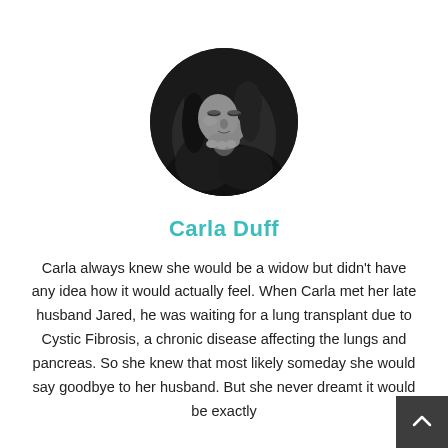[Figure (photo): Black and white circular portrait photo of a woman with dark curly hair, resting her chin on her hand, looking downward thoughtfully.]
Carla Duff
Carla always knew she would be a widow but didn't have any idea how it would actually feel. When Carla met her late husband Jared, he was waiting for a lung transplant due to Cystic Fibrosis, a chronic disease affecting the lungs and pancreas. So she knew that most likely someday she would say goodbye to her husband. But she never dreamt it would be exactly...